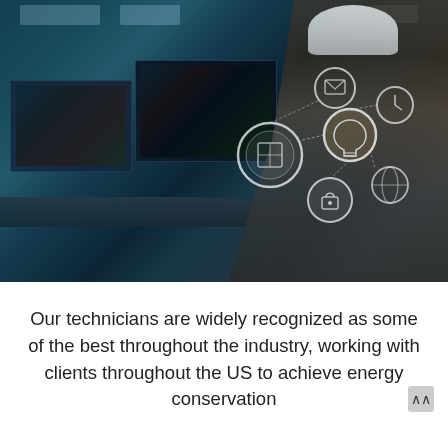[Figure (photo): A technician wearing a white hard hat and glasses, viewed from the side, holding a tablet in a control room with multiple monitors displaying data. Glowing IoT/technology icons are overlaid on the image in white. The photo has a teal/blue color tint.]
Our technicians are widely recognized as some of the best throughout the industry, working with clients throughout the US to achieve energy conservation